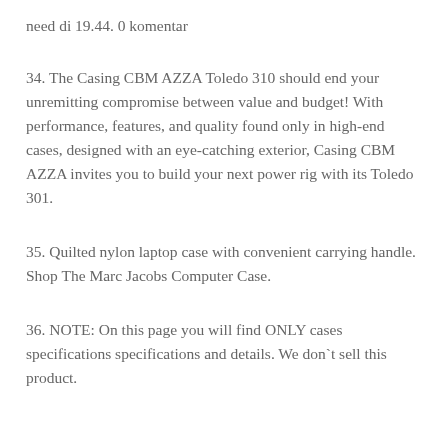need di 19.44. 0 komentar
34. The Casing CBM AZZA Toledo 310 should end your unremitting compromise between value and budget! With performance, features, and quality found only in high-end cases, designed with an eye-catching exterior, Casing CBM AZZA invites you to build your next power rig with its Toledo 301.
35. Quilted nylon laptop case with convenient carrying handle. Shop The Marc Jacobs Computer Case.
36. NOTE: On this page you will find ONLY cases specifications specifications and details. We don`t sell this product.